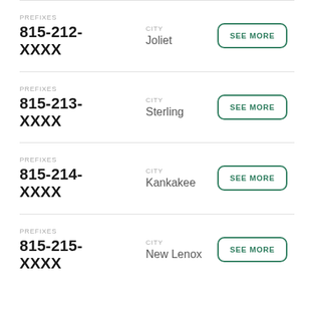PREFIXES 815-212-XXXX CITY Joliet SEE MORE
PREFIXES 815-213-XXXX CITY Sterling SEE MORE
PREFIXES 815-214-XXXX CITY Kankakee SEE MORE
PREFIXES 815-215-XXXX CITY New Lenox SEE MORE